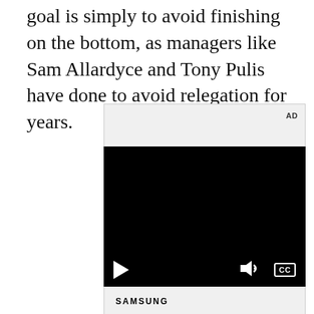goal is simply to avoid finishing on the bottom, as managers like Sam Allardyce and Tony Pulis have done to avoid relegation for years.
[Figure (other): Advertisement block containing a video player with play, volume, and CC controls, and a Samsung Pre-order Galaxy Z Fold4 advertisement below it.]